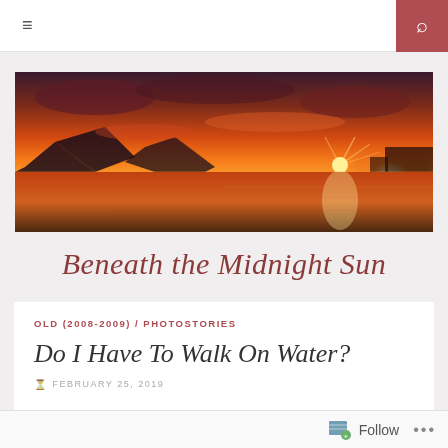≡  🔍
[Figure (photo): Panoramic sunset photo over a lake or bay with mountains in the background, dramatic orange and red sky, bright sun on the right horizon reflecting on calm water.]
Beneath the Midnight Sun
OLD (2008-2009) / PHOTOSTORIES
Do I Have To Walk On Water?
FEBRUARY 25, 2019
Follow  ...